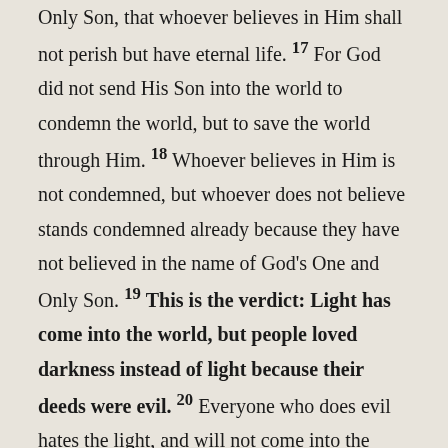Only Son, that whoever believes in Him shall not perish but have eternal life. 17 For God did not send His Son into the world to condemn the world, but to save the world through Him. 18 Whoever believes in Him is not condemned, but whoever does not believe stands condemned already because they have not believed in the name of God's One and Only Son. 19 This is the verdict: Light has come into the world, but people loved darkness instead of light because their deeds were evil. 20 Everyone who does evil hates the light, and will not come into the light for fear that their deeds will be exposed. 21 But whoever lives by the truth comes into the light, so that it may be seen plainly that what they have done has been done in the sight of God.
Well, the solution to the discord, hatred, and division